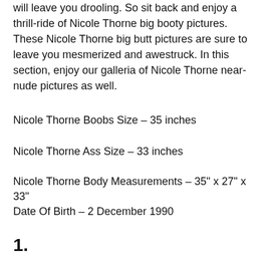will leave you drooling. So sit back and enjoy a thrill-ride of Nicole Thorne big booty pictures. These Nicole Thorne big butt pictures are sure to leave you mesmerized and awestruck. In this section, enjoy our galleria of Nicole Thorne near-nude pictures as well.
Nicole Thorne Boobs Size – 35 inches
Nicole Thorne Ass Size – 33 inches
Nicole Thorne Body Measurements – 35" x 27" x 33"
Date Of Birth – 2 December 1990
1.